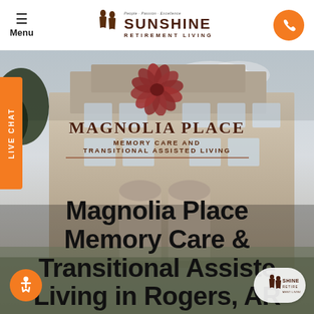Menu | SUNSHINE RETIREMENT LIVING
[Figure (photo): Exterior photo of Magnolia Place building with Magnolia Place Memory Care and Transitional Assisted Living logo overlay]
Magnolia Place Memory Care & Transitional Assisted Living in Rogers, AR